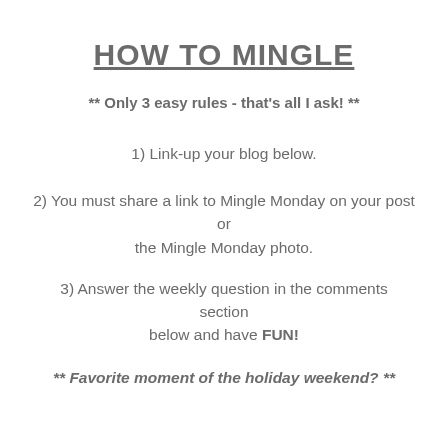HOW TO MINGLE
** Only 3 easy rules - that's all I ask! **
1) Link-up your blog below.
2) You must share a link to Mingle Monday on your post or the Mingle Monday photo.
3) Answer the weekly question in the comments section below and have FUN!
** Favorite moment of the holiday weekend? **